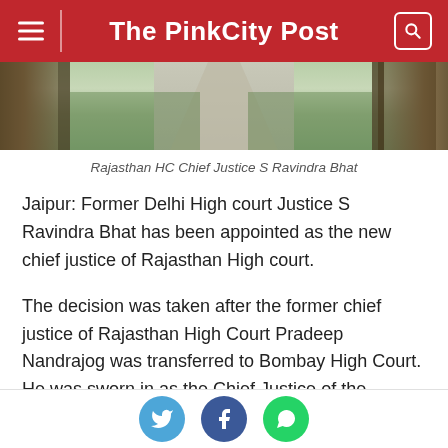The PinkCity Post
[Figure (photo): Photograph of Rajasthan High Court entrance gate with a path leading through, flanked by ornate stone pillars and lush greenery.]
Rajasthan HC Chief Justice S Ravindra Bhat
Jaipur: Former Delhi High court Justice S Ravindra Bhat has been appointed as the new chief justice of Rajasthan High court.
The decision was taken after the former chief justice of Rajasthan High Court Pradeep Nandrajog was transferred to Bombay High Court. He was sworn in as the Chief Justice of the Bombay High Court on April 7.